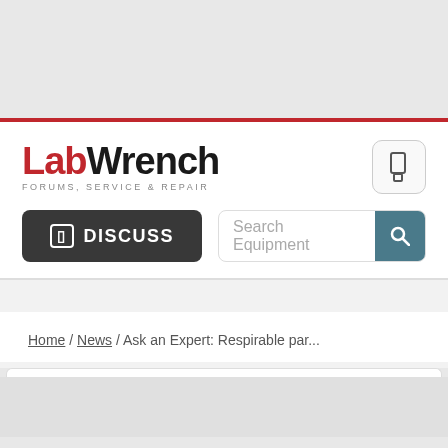[Figure (logo): LabWrench logo with tagline FORUMS, SERVICE & REPAIR]
DISCUSS
Search Equipment
Home / News / Ask an Expert: Respirable par...